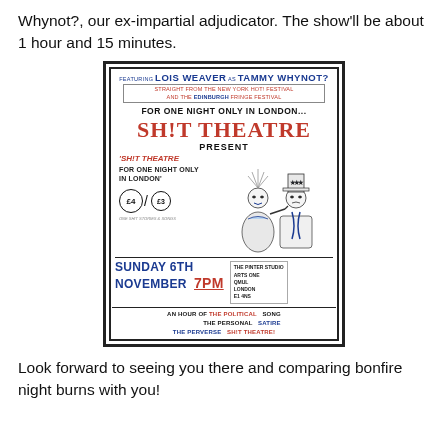Whynot?, our ex-impartial adjudicator. The show'll be about 1 hour and 15 minutes.
[Figure (illustration): Theatre poster for 'Sh!t Theatre For One Night Only In London' featuring Lois Weaver as Tammy Whynot? at The Pinter Studio, Arts One, QMUL, London E1 4NS on Sunday 6th November 7PM. Prices £4/£3. Includes cartoon illustration of two figures in costume.]
Look forward to seeing you there and comparing bonfire night burns with you!